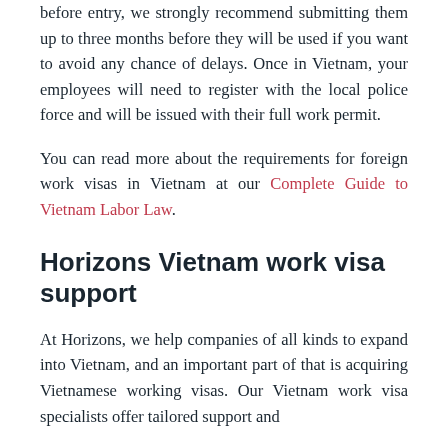before entry, we strongly recommend submitting them up to three months before they will be used if you want to avoid any chance of delays. Once in Vietnam, your employees will need to register with the local police force and will be issued with their full work permit.
You can read more about the requirements for foreign work visas in Vietnam at our Complete Guide to Vietnam Labor Law.
Horizons Vietnam work visa support
At Horizons, we help companies of all kinds to expand into Vietnam, and an important part of that is acquiring Vietnamese working visas. Our Vietnam work visa specialists offer tailored support and ...